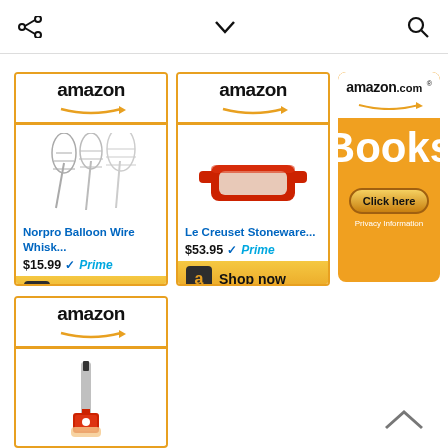share / chevron-down / search icons
[Figure (screenshot): Amazon product ad for Norpro Balloon Wire Whisk, $15.99, Prime, Shop now button]
[Figure (screenshot): Amazon product ad for Le Creuset Stoneware, $53.95, Prime, Shop now button]
[Figure (screenshot): Amazon.com Books ad with Click here button and Privacy Information link]
[Figure (screenshot): Amazon product ad partial - thermometer product, bottom of page]
Up arrow navigation icon